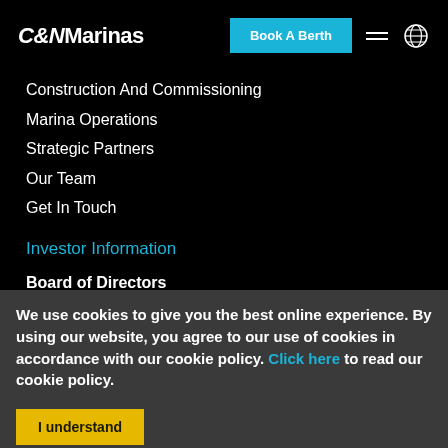C&NMarinas | Book A Berth
Construction And Commissioning
Marina Operations
Strategic Partners
Our Team
Get In Touch
Investor Information
Board of Directors
Financial Reports
We use cookies to give you the best online experience. By using our website, you agree to our use of cookies in accordance with our cookie policy. Click here to read our cookie policy.
I understand